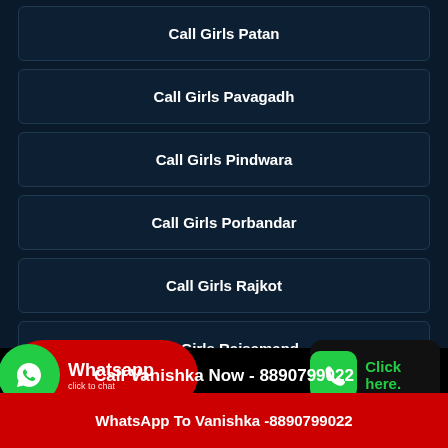Call Girls Patan
Call Girls Pavagadh
Call Girls Pindwara
Call Girls Porbandar
Call Girls Rajkot
Call Girls Rajsamand
Call Girls Sabarkantha
Whatsapp click to chat
Click here.
Call Vanishka Now - 8890799022
WhatsApp To Vanishka -8890799022